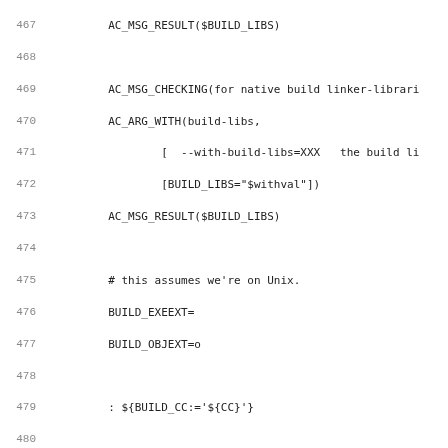[Figure (other): Source code listing (shell/autoconf script) showing lines 467-499, including AC_MSG_CHECKING, AC_ARG_WITH, BUILD_EXEEXT, BUILD_OBJEXT, conditionals, and AC_SUBST calls.]